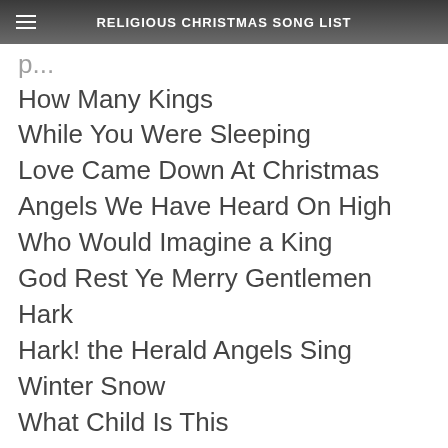RELIGIOUS CHRISTMAS SONG LIST
How Many Kings
While You Were Sleeping
Love Came Down At Christmas
Angels We Have Heard On High
Who Would Imagine a King
God Rest Ye Merry Gentlemen
Hark
Hark! the Herald Angels Sing
Winter Snow
What Child Is This